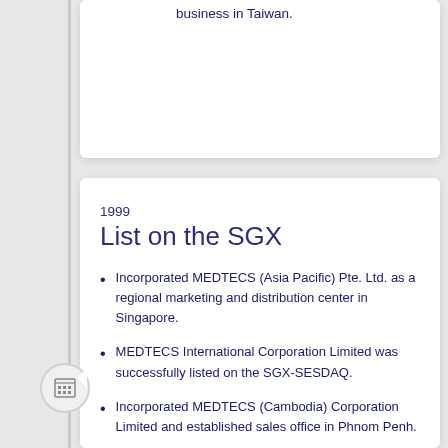business in Taiwan.
1999
List on the SGX
Incorporated MEDTECS (Asia Pacific) Pte. Ltd. as a regional marketing and distribution center in Singapore.
MEDTECS International Corporation Limited was successfully listed on the SGX-SESDAQ.
Incorporated MEDTECS (Cambodia) Corporation Limited and established sales office in Phnom Penh.